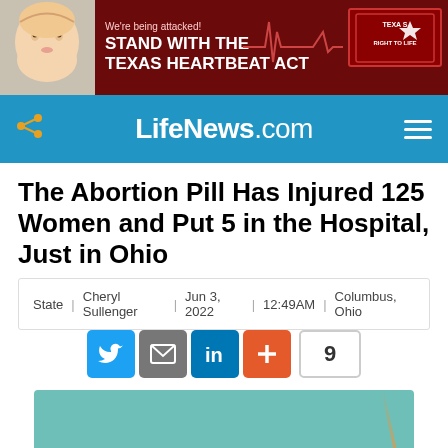[Figure (illustration): Ad banner: baby photo on left, dark red background, text 'We're being attacked! STAND WITH THE TEXAS HEARTBEAT ACT', EKG line graphic, Texas Right to Life logo on right]
LifeNews.com
The Abortion Pill Has Injured 125 Women and Put 5 in the Hospital, Just in Ohio
State | Cheryl Sullenger | Jun 3, 2022 | 12:49AM | Columbus, Ohio
[Figure (infographic): Social share buttons: Twitter (blue), Email (gray), LinkedIn (blue), Plus/More (orange-red), share count: 9]
[Figure (photo): Teal/turquoise box of Mifepristone 200mg tablets, partially visible at bottom of page]